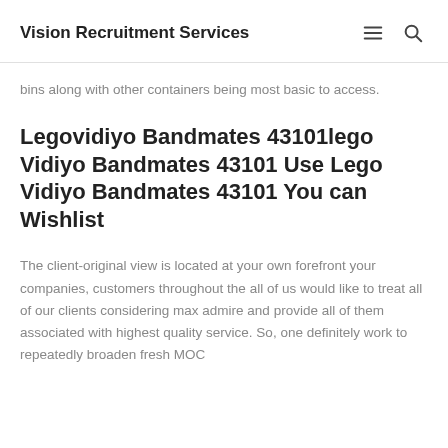Vision Recruitment Services
bins along with other containers being most basic to access.
Legovidiyo Bandmates 43101lego Vidiyo Bandmates 43101 Use Lego Vidiyo Bandmates 43101 You can Wishlist
The client-original view is located at your own forefront your companies, customers throughout the all of us would like to treat all of our clients considering max admire and provide all of them associated with highest quality service. So, one definitely work to repeatedly broaden fresh MOC